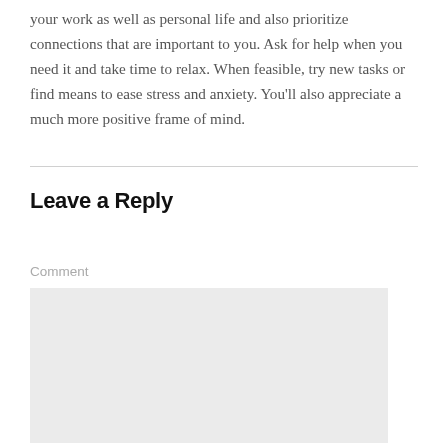your work as well as personal life and also prioritize connections that are important to you. Ask for help when you need it and take time to relax. When feasible, try new tasks or find means to ease stress and anxiety. You'll also appreciate a much more positive frame of mind.
Leave a Reply
Comment